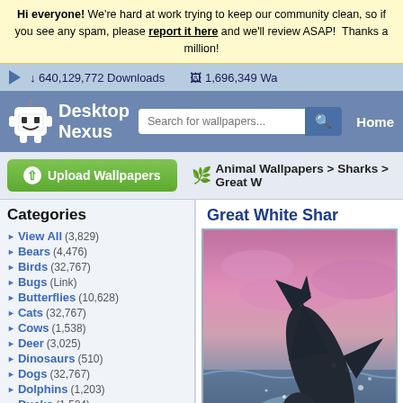Hi everyone! We're hard at work trying to keep our community clean, so if you see any spam, please report it here and we'll review ASAP! Thanks a million!
640,129,772 Downloads   1,696,349 Wa...
[Figure (screenshot): Desktop Nexus logo — white robot mascot icon with the text Desktop Nexus]
Search for wallpapers...   Home
Upload Wallpapers
Animal Wallpapers > Sharks > Great W...
Categories
View All (3,829)
Bears (4,476)
Birds (32,767)
Bugs (Link)
Butterflies (10,628)
Cats (32,767)
Cows (1,538)
Deer (3,025)
Dinosaurs (510)
Dogs (32,767)
Dolphins (1,203)
Ducks (1,524)
Elephants (1,300)
Fish (3,162)
Frogs (5,708)
Great White Shar...
[Figure (photo): Great white shark leaping out of the ocean with pink/purple sky at dusk, water splashing around it]